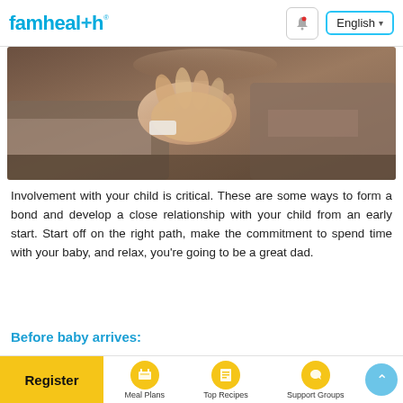famhealth | English
[Figure (photo): Close-up photo of a newborn baby's hand being held by an adult, wrapped in soft blankets with warm brown tones]
Involvement with your child is critical. These are some ways to form a bond and develop a close relationship with your child from an early start. Start off on the right path, make the commitment to spend time with your baby, and relax, you’re going to be a great dad.
Before baby arrives:
To attend antenatal classes with your
Register | Meal Plans | Top Recipes | Support Groups